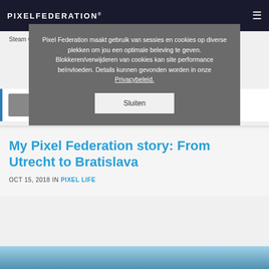PIXELFEDERATION®
Pixel Federation maakt gebruik van sessies en cookies op diverse plekken om jou een optimale beleving te geven. Blokkeren/verwijderen van cookies kan site performance beïnvloeden. Details kunnen gevonden worden in onze Privacybeleid.
Sluiten
Steam Cross-Platform multiplayer support is now in open beta. Try it here!
Natália Svecová
Social Media M...
My Pixel Federation story: From Utrecht to Bratislava
OCT 15, 2018 IN PIXEL LIFE